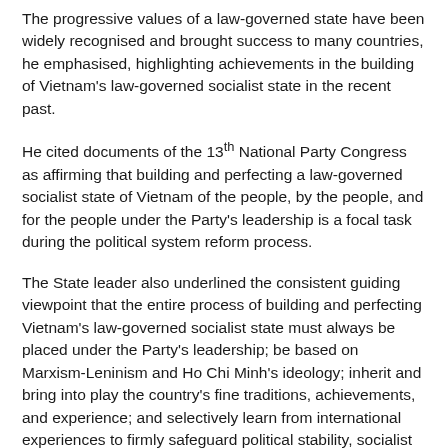The progressive values of a law-governed state have been widely recognised and brought success to many countries, he emphasised, highlighting achievements in the building of Vietnam's law-governed socialist state in the recent past.
He cited documents of the 13th National Party Congress as affirming that building and perfecting a law-governed socialist state of Vietnam of the people, by the people, and for the people under the Party's leadership is a focal task during the political system reform process.
The State leader also underlined the consistent guiding viewpoint that the entire process of building and perfecting Vietnam's law-governed socialist state must always be placed under the Party's leadership; be based on Marxism-Leninism and Ho Chi Minh's ideology; inherit and bring into play the country's fine traditions, achievements, and experience; and selectively learn from international experiences to firmly safeguard political stability, socialist orientation, and better ensure socialist democracy.